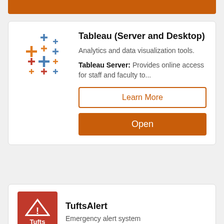[Figure (logo): Tableau logo — colorful plus/cross marks in orange, blue, red]
Tableau (Server and Desktop)
Analytics and data visualization tools.
Tableau Server: Provides online access for staff and faculty to...
Learn More
Open
[Figure (logo): TuftsAlert logo — red square with white warning triangle and Tufts text]
TuftsAlert
Emergency alert system